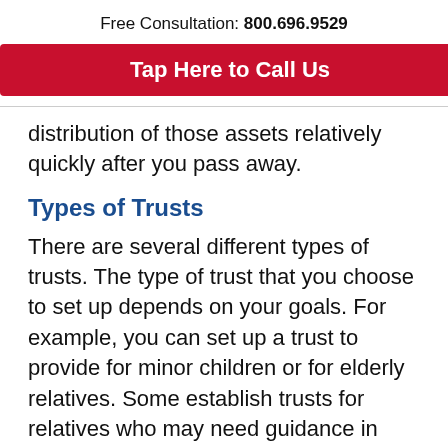Free Consultation: 800.696.9529
Tap Here to Call Us
distribution of those assets relatively quickly after you pass away.
Types of Trusts
There are several different types of trusts. The type of trust that you choose to set up depends on your goals. For example, you can set up a trust to provide for minor children or for elderly relatives. Some establish trusts for relatives who may need guidance in handling finances. A trust can also be set up to protect your assets should you become incapacitated. You can even set up a trust for the benefit of a